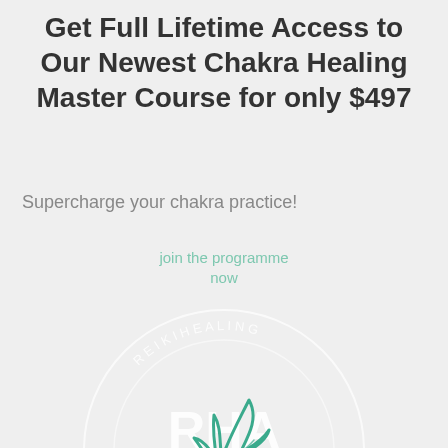Get Full Lifetime Access to Our Newest Chakra Healing Master Course for only $497
Supercharge your chakra practice!
join the programme now
[Figure (logo): RHA Reiki Healing Academy circular logo with leaf icon in teal and text 'RHA Academy' with 'REIKI HEALING' around the circle border]